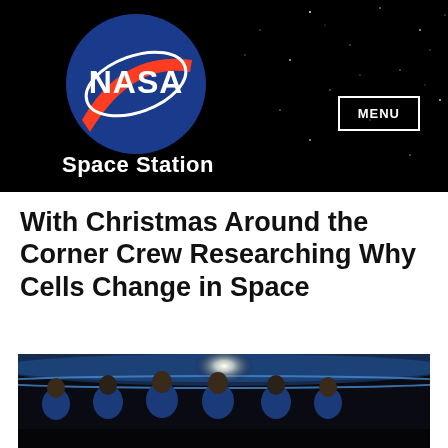[Figure (logo): NASA Space Station website header with NASA meatball logo on black starfield background, with 'Space Station' text and MENU button]
With Christmas Around the Corner Crew Researching Why Cells Change in Space
[Figure (photo): Six ISS crew members in blue flight suits posing in front of Earth's limb with a bright light source in the background]